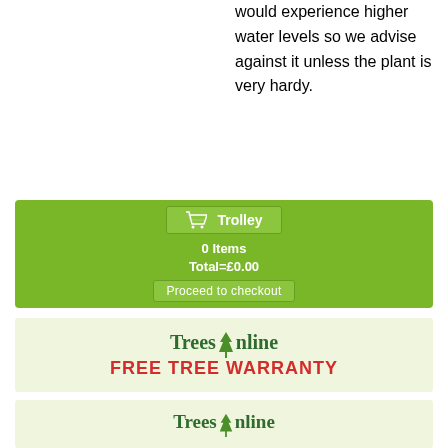would experience higher water levels so we advise against it unless the plant is very hardy.
[Figure (screenshot): Green shopping trolley widget showing 0 Items, Total=£0.00, with a Proceed to checkout button]
[Figure (logo): Trees Online FREE TREE WARRANTY banner on light green background]
[Figure (logo): Trees Online banner (partial) on light green background at bottom of page]